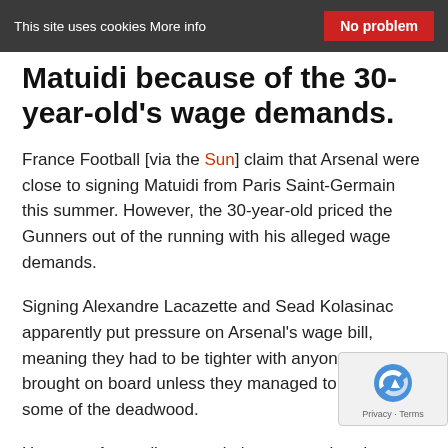This site uses cookies More info   No problem
Matuidi because of the 30-year-old's wage demands.
France Football [via the Sun] claim that Arsenal were close to signing Matuidi from Paris Saint-Germain this summer. However, the 30-year-old priced the Gunners out of the running with his alleged wage demands.
Signing Alexandre Lacazette and Sead Kolasinac apparently put pressure on Arsenal's wage bill, meaning they had to be tighter with anyone they brought on board unless they managed to offload some of the deadwood.
However, Arsenal's unused players are already appare… high wages themselves, making it hard to shift them a… meaning the Gunners couldn't afford to sign anyone else.